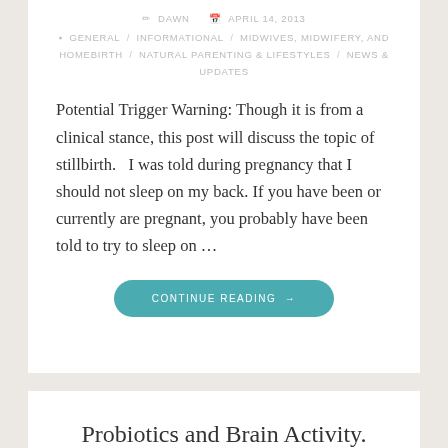DAWN   APRIL 14, 2013
GENERAL / INFORMATIONAL / MIDWIVES, MIDWIFERY, AND HOMEBIRTH / NATURAL PARENTING & LIFESTYLES / NEWS & UPDATES
Potential Trigger Warning: Though it is from a clinical stance, this post will discuss the topic of stillbirth.   I was told during pregnancy that I should not sleep on my back. If you have been or currently are pregnant, you probably have been told to try to sleep on …
CONTINUE READING →
Probiotics and Brain Activity.
DAWN   MARCH 29, 2013
GENERAL / INFORMATIONAL / MIDWIVES, MIDWIFERY, AND HOMEBIRTH / NEWS & UPDATES